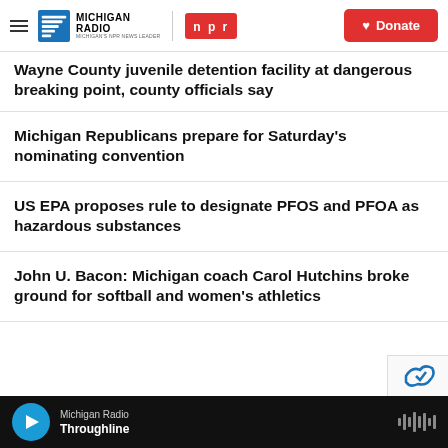Michigan Radio | NPR | Donate
Wayne County juvenile detention facility at dangerous breaking point, county officials say
Michigan Republicans prepare for Saturday's nominating convention
US EPA proposes rule to designate PFOS and PFOA as hazardous substances
John U. Bacon: Michigan coach Carol Hutchins broke ground for softball and women's athletics
Michigan Radio | Throughline